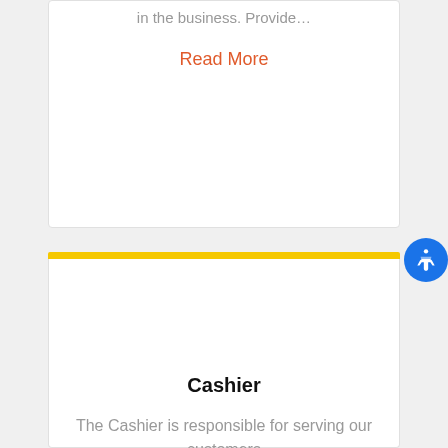in the business. Provide…
Read More
Cashier
The Cashier is responsible for serving our customers